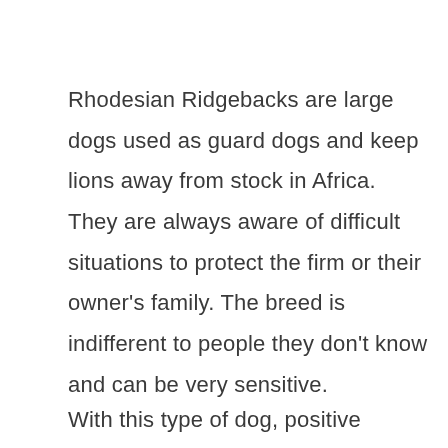Rhodesian Ridgebacks are large dogs used as guard dogs and keep lions away from stock in Africa. They are always aware of difficult situations to protect the firm or their owner's family. The breed is indifferent to people they don't know and can be very sensitive.
With this type of dog, positive reinforcement is